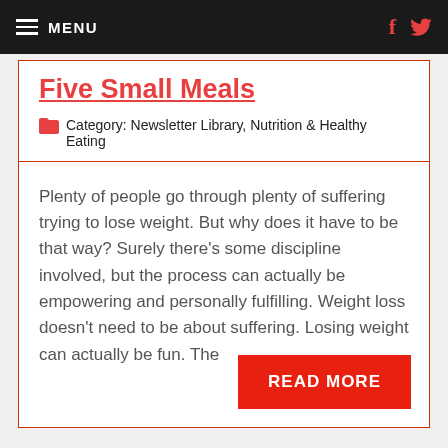MENU
Five Small Meals
Category: Newsletter Library, Nutrition & Healthy Eating
Plenty of people go through plenty of suffering trying to lose weight. But why does it have to be that way? Surely there's some discipline involved, but the process can actually be empowering and personally fulfilling. Weight loss doesn't need to be about suffering. Losing weight can actually be fun. The
READ MORE